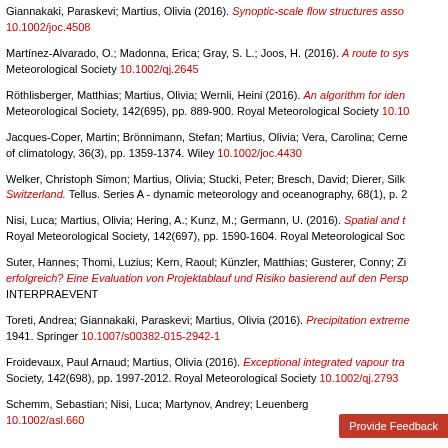Giannakaki, Paraskevi; Martius, Olivia (2016). Synoptic-scale flow structures asso... 10.1002/joc.4508
Martínez-Alvarado, O.; Madonna, Erica; Gray, S. L.; Joos, H. (2016). A route to sys... Meteorological Society 10.1002/qj.2645
Röthlisberger, Matthias; Martius, Olivia; Wernli, Heini (2016). An algorithm for iden... Meteorological Society, 142(695), pp. 889-900. Royal Meteorological Society 10.10...
Jacques-Coper, Martin; Brönnimann, Stefan; Martius, Olivia; Vera, Carolina; Cerne... of climatology, 36(3), pp. 1359-1374. Wiley 10.1002/joc.4430
Welker, Christoph Simon; Martius, Olivia; Stucki, Peter; Bresch, David; Dierer, Silk... Switzerland. Tellus. Series A - dynamic meteorology and oceanography, 68(1), p. 2...
Nisi, Luca; Martius, Olivia; Hering, A.; Kunz, M.; Germann, U. (2016). Spatial and t... Royal Meteorological Society, 142(697), pp. 1590-1604. Royal Meteorological Soc...
Suter, Hannes; Thomi, Luzius; Kern, Raoul; Künzler, Matthias; Gusterer, Conny; Zi... erfolgreich? Eine Evaluation von Projektablauf und Risiko basierend auf den Persp... INTERPRAEVENT
Toreti, Andrea; Giannakaki, Paraskevi; Martius, Olivia (2016). Precipitation extreme... 1941. Springer 10.1007/s00382-015-2942-1
Froidevaux, Paul Arnaud; Martius, Olivia (2016). Exceptional integrated vapour tra... Society, 142(698), pp. 1997-2012. Royal Meteorological Society 10.1002/qj.2793
Schemm, Sebastian; Nisi, Luca; Martynov, Andrey; Leuenberg... 10.1002/asl.660